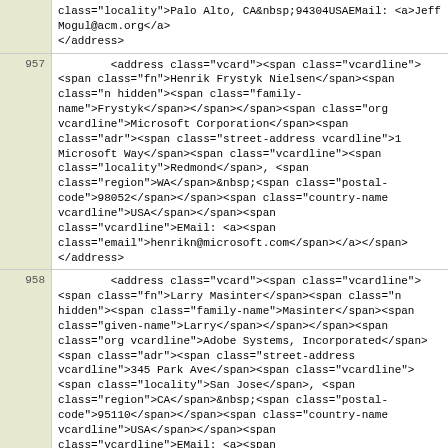class="locality">Palo Alto</span>, <span class="region">CA</span>&nbsp;<span class="postal-code">94304</span></span><span class="country-name vcardline">USA</span></span><span class="vcardline">EMail: <a><span class="email">JeffMogul@acm.org</span></a></span>
</address>
957    <address class="vcard"><span class="vcardline"><span class="fn">Henrik Frystyk Nielsen</span><span class="n hidden"><span class="family-name">Frystyk</span></span></span><span class="org vcardline">Microsoft Corporation</span><span class="adr"><span class="street-address vcardline">1 Microsoft Way</span><span class="vcardline"><span class="locality">Redmond</span>, <span class="region">WA</span>&nbsp;<span class="postal-code">98052</span></span><span class="country-name vcardline">USA</span></span><span class="vcardline">EMail: <a><span class="email">henrikn@microsoft.com</span></a></span>
</address>
958    <address class="vcard"><span class="vcardline"><span class="fn">Larry Masinter</span><span class="n hidden"><span class="family-name">Masinter</span><span class="given-name">Larry</span></span></span><span class="org vcardline">Adobe Systems, Incorporated</span><span class="adr"><span class="street-address vcardline">345 Park Ave</span><span class="vcardline"><span class="locality">San Jose</span>, <span class="region">CA</span>&nbsp;<span class="postal-code">95110</span></span><span class="country-name vcardline">USA</span></span><span class="vcardline">EMail: <a><span class="email">LMM@acm.org</span></a></span><span class="vcardline">URI: <a href="http://larry.masinter.net/" class="url">http://larry.masinter.net/</a></span>
</address>